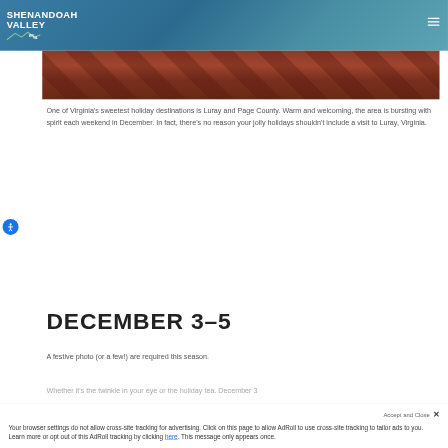SHENANDOAH VALLEY WV VA
[Figure (photo): Partial view of a reddish-brown tiled or wooden surface, cropped architectural photo]
One of Virginia’s sweetest holiday destinations is Luray and Page County. Warm and welcoming, the area is bursting with spirit each weekend in December. In fact, there’s no reason your jolly holidays shouldn’t include a visit to Luray, Virginia.
DECEMBER 3-5
A festive photo (or a few!) are required this season.
Whether it’s the twinkle in your eye or the holiday tea. December 3
Your browser settings do not allow cross-site tracking for advertising. Click on this page to allow AdRoll to use cross-site tracking to tailor ads to you. Learn more or opt out of this AdRoll tracking by clicking here. This message only appears once.